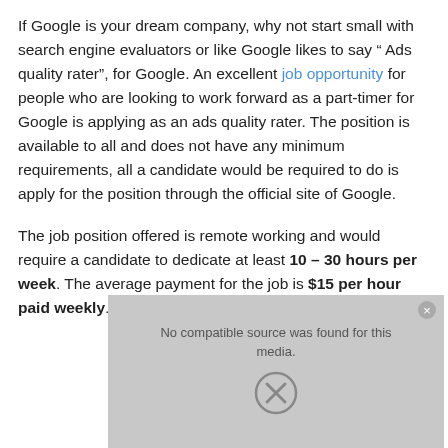If Google is your dream company, why not start small with search engine evaluators or like Google likes to say " Ads quality rater", for Google. An excellent job opportunity for people who are looking to work forward as a part-timer for Google is applying as an ads quality rater. The position is available to all and does not have any minimum requirements, all a candidate would be required to do is apply for the position through the official site of Google.
The job position offered is remote working and would require a candidate to dedicate at least 10 – 30 hours per week. The average payment for the job is $15 per hour paid weekly. To apply for the position follow the steps:
[Figure (other): Video player overlay showing 'No compatible source was found for this media.' with a close button and X icon on a gray background.]